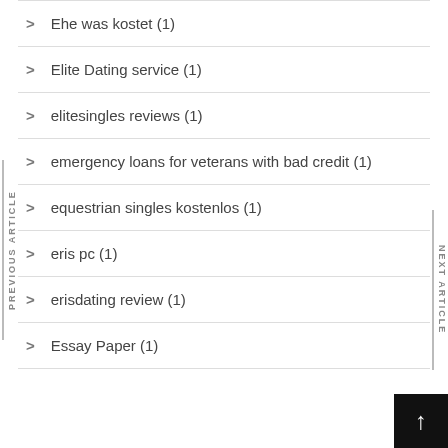Ehe was kostet (1)
Elite Dating service (1)
elitesingles reviews (1)
emergency loans for veterans with bad credit (1)
equestrian singles kostenlos (1)
eris pc (1)
erisdating review (1)
Essay Paper (1)